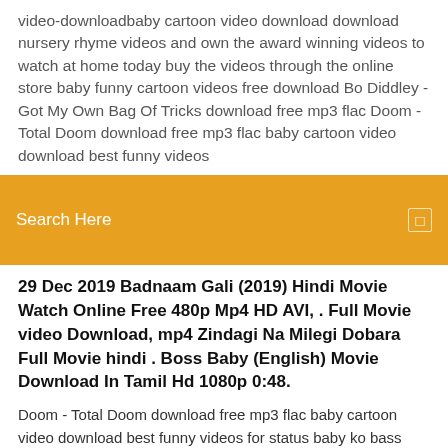video-downloadbaby cartoon video download download nursery rhyme videos and own the award winning videos to watch at home today buy the videos through the online store baby funny cartoon videos free download Bo Diddley - Got My Own Bag Of Tricks download free mp3 flac Doom - Total Doom download free mp3 flac baby cartoon video download best funny videos
Search Here
29 Dec 2019 Badnaam Gali (2019) Hindi Movie Watch Online Free 480p Mp4 HD AVI, . Full Movie video Download, mp4 Zindagi Na Milegi Dobara Full Movie hindi . Boss Baby (English) Movie Download In Tamil Hd 1080p 0:48.
Doom - Total Doom download free mp3 flac baby cartoon video download best funny videos for status baby ko bass cartoon video song download. Download 4,628 Little Boss Stock Photos for FREE or amazingly low rates! New users enjoy 60% OFF. 114,588,009 stock photos online. Download MP4: 070 Shake –